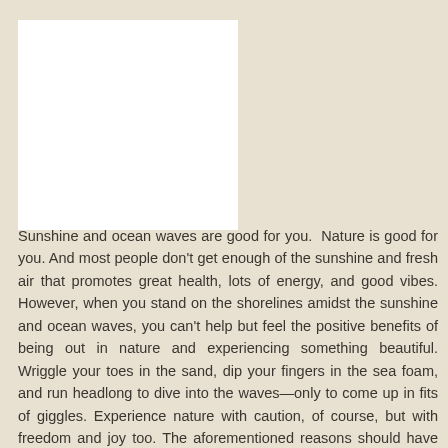[Figure (photo): White rectangular image placeholder in the upper left area of the page]
Sunshine and ocean waves are good for you.  Nature is good for you. And most people don't get enough of the sunshine and fresh air that promotes great health, lots of energy, and good vibes. However, when you stand on the shorelines amidst the sunshine and ocean waves, you can't help but feel the positive benefits of being out in nature and experiencing something beautiful. Wriggle your toes in the sand, dip your fingers in the sea foam, and run headlong to dive into the waves—only to come up in fits of giggles. Experience nature with caution, of course, but with freedom and joy too. The aforementioned reasons should have you running for the nearest island paradise. Or, your version at least. Look into timeshare transfers, or round-trip vacation packages, to get the most bang for your proverbial travel bucks. Never, ever deny yourself the pure